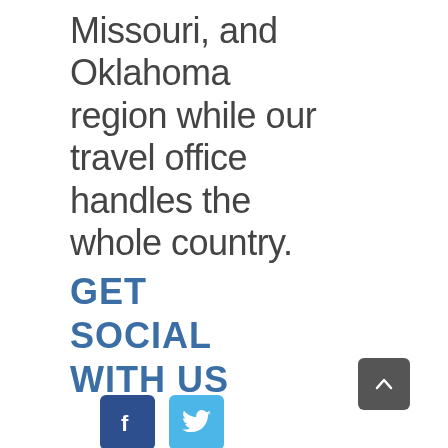Missouri, and Oklahoma region while our travel office handles the whole country.
GET SOCIAL WITH US
[Figure (other): Facebook and Twitter social media icon buttons (blue squares with f and bird logos)]
[Figure (other): Scroll-to-top button (dark grey square with upward chevron arrow)]